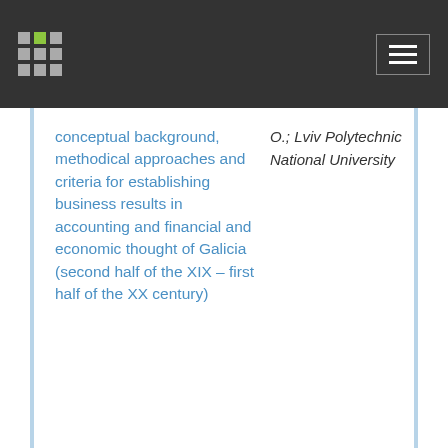conceptual background, methodical approaches and criteria for establishing business results in accounting and financial and economic thought of Galicia (second half of the XIX – first half of the XX century)
O.; Lviv Polytechnic National University